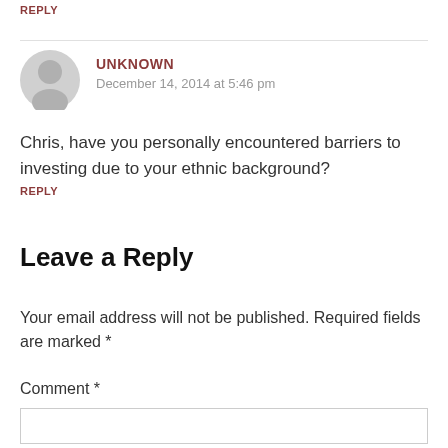REPLY
UNKNOWN
December 14, 2014 at 5:46 pm
Chris, have you personally encountered barriers to investing due to your ethnic background?
REPLY
Leave a Reply
Your email address will not be published. Required fields are marked *
Comment *